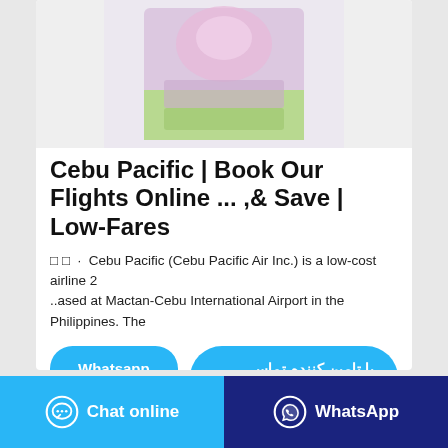[Figure (photo): Product image of a packaged item with pink/green packaging against a light gray background]
Cebu Pacific | Book Our Flights Online ... ,& Save | Low-Fares
□ □ · Cebu Pacific (Cebu Pacific Air Inc.) is a low-cost airline 2 ..ased at Mactan-Cebu International Airport in the Philippines. The
Whatsapp
با تامین کننده تماس بگیرید
Chat online
WhatsApp